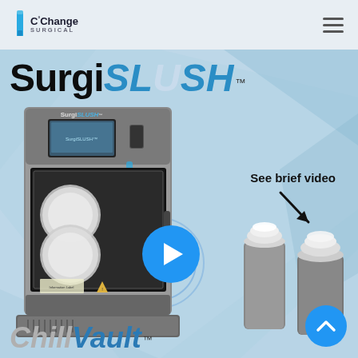[Figure (logo): C-Change Surgical logo with blue tube icon and company name]
[Figure (screenshot): SurgiSLUSH medical device product page screenshot showing the SurgiSLUSH machine, a video play button with 'See brief video' label and arrow, two ChillVault containers on the right, and ChillVault text at the bottom]